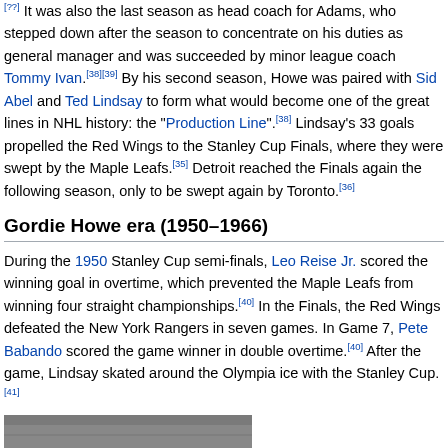it was also the last season as head coach for Adams, who stepped down after the season to concentrate on his duties as general manager and was succeeded by minor league coach Tommy Ivan.[38][39] By his second season, Howe was paired with Sid Abel and Ted Lindsay to form what would become one of the great lines in NHL history: the "Production Line".[38] Lindsay's 33 goals propelled the Red Wings to the Stanley Cup Finals, where they were swept by the Maple Leafs.[35] Detroit reached the Finals again the following season, only to be swept again by Toronto.[36]
Gordie Howe era (1950–1966)
During the 1950 Stanley Cup semi-finals, Leo Reise Jr. scored the winning goal in overtime, which prevented the Maple Leafs from winning four straight championships.[40] In the Finals, the Red Wings defeated the New York Rangers in seven games. In Game 7, Pete Babando scored the game winner in double overtime.[40] After the game, Lindsay skated around the Olympia ice with the Stanley Cup.[41]
[Figure (photo): Black and white group photograph, appears to show a hockey team posed together indoors.]